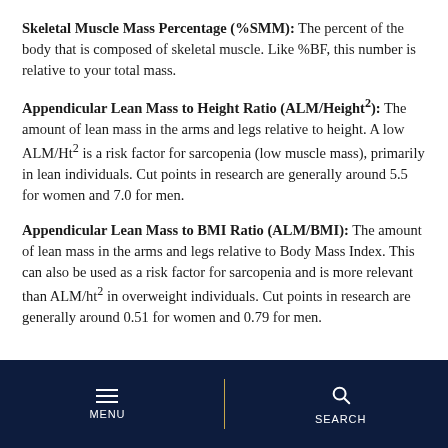Skeletal Muscle Mass Percentage (%SMM): The percent of the body that is composed of skeletal muscle. Like %BF, this number is relative to your total mass.
Appendicular Lean Mass to Height Ratio (ALM/Height²): The amount of lean mass in the arms and legs relative to height. A low ALM/Ht² is a risk factor for sarcopenia (low muscle mass), primarily in lean individuals. Cut points in research are generally around 5.5 for women and 7.0 for men.
Appendicular Lean Mass to BMI Ratio (ALM/BMI): The amount of lean mass in the arms and legs relative to Body Mass Index. This can also be used as a risk factor for sarcopenia and is more relevant than ALM/ht² in overweight individuals. Cut points in research are generally around 0.51 for women and 0.79 for men.
MENU | SEARCH